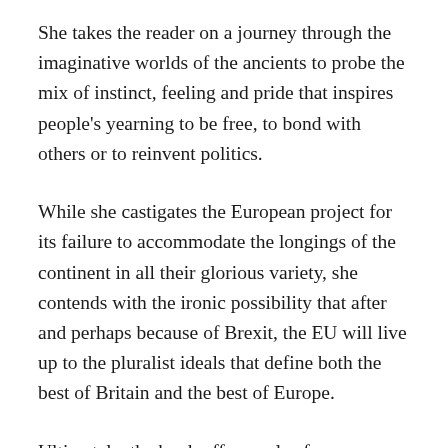She takes the reader on a journey through the imaginative worlds of the ancients to probe the mix of instinct, feeling and pride that inspires people's yearning to be free, to bond with others or to reinvent politics.
While she castigates the European project for its failure to accommodate the longings of the continent in all their glorious variety, she contends with the ironic possibility that after and perhaps because of Brexit, the EU will live up to the pluralist ideals that define both the best of Britain and the best of Europe.
Ultimately, the book offers a plea for acknowledging each other's stories, with their